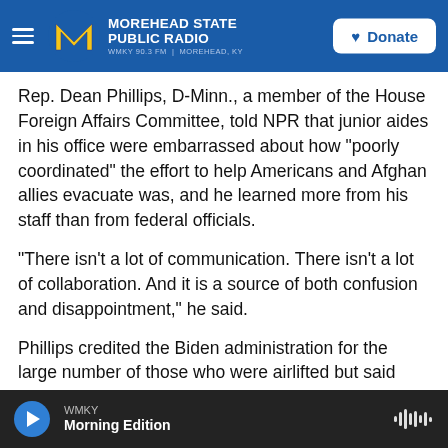Morehead State Public Radio — WMKY 90.3 FM | Morehead, KY
Rep. Dean Phillips, D-Minn., a member of the House Foreign Affairs Committee, told NPR that junior aides in his office were embarrassed about how "poorly coordinated" the effort to help Americans and Afghan allies evacuate was, and he learned more from his staff than from federal officials.
"There isn't a lot of communication. There isn't a lot of collaboration. And it is a source of both confusion and disappointment," he said.
Phillips credited the Biden administration for the large number of those who were airlifted but said
WMKY — Morning Edition